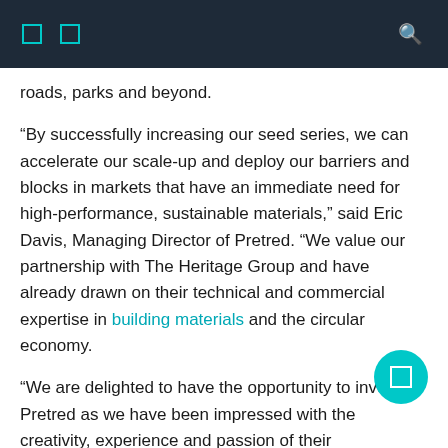roads, parks and beyond.
“By successfully increasing our seed series, we can accelerate our scale-up and deploy our barriers and blocks in markets that have an immediate need for high-performance, sustainable materials,” said Eric Davis, Managing Director of Pretred. “We value our partnership with The Heritage Group and have already drawn on their technical and commercial expertise in building materials and the circular economy.
“We are delighted to have the opportunity to invest in Pretred as we have been impressed with the creativity, experience and passion of their management team,” said Ginger Rothrock, Senior Director at HG Ventures and member of the Pretred Board of Directors. “We believe Pretred is a pioneer in making green building materials by making